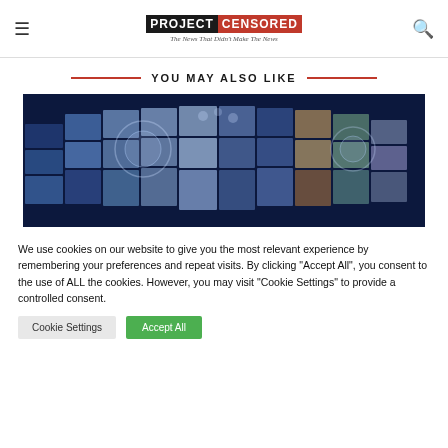PROJECT CENSORED — The News That Didn't Make The News
YOU MAY ALSO LIKE
[Figure (photo): A collage of media screens showing various TV and digital content thumbnails on a dark blue background.]
We use cookies on our website to give you the most relevant experience by remembering your preferences and repeat visits. By clicking "Accept All", you consent to the use of ALL the cookies. However, you may visit "Cookie Settings" to provide a controlled consent.
Cookie Settings | Accept All